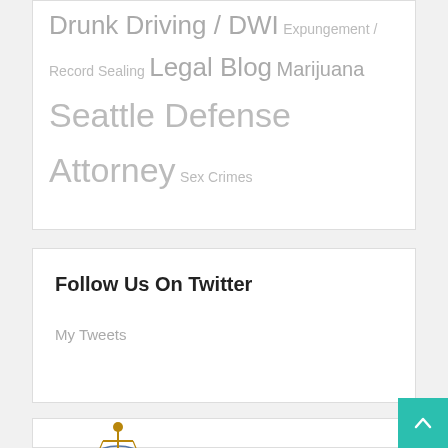Drunk Driving / DWI Expungement / Record Sealing Legal Blog Marijuana Seattle Defense Attorney Sex Crimes
Follow Us On Twitter
My Tweets
[Figure (logo): Lady Justice logo with 'THE' text below, circular blue outline, gold figure holding scales]